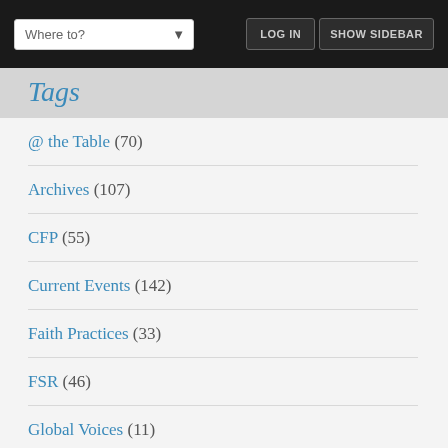Where to? [dropdown] | LOGIN | SHOW SIDEBAR
Tags
@ the Table (70)
Archives (107)
CFP (55)
Current Events (142)
Faith Practices (33)
FSR (46)
Global Voices (11)
Interreligious Dialogue (17)
Jobs/Funding (52)
Living It Out (122)